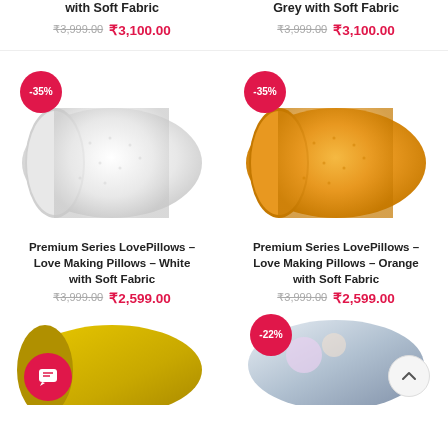with Soft Fabric
Grey with Soft Fabric
₹3,999.00  ₹3,100.00
₹3,999.00  ₹3,100.00
[Figure (photo): White cylindrical pillow with -35% badge]
[Figure (photo): Orange cylindrical pillow with -35% badge]
Premium Series LovePillows – Love Making Pillows – White with Soft Fabric
Premium Series LovePillows – Love Making Pillows – Orange with Soft Fabric
₹3,999.00  ₹2,599.00
₹3,999.00  ₹2,599.00
[Figure (photo): Yellow pillow partially visible at bottom left with chat icon overlay]
[Figure (photo): Decorative pillow partially visible at bottom right with -22% badge and back-to-top button]